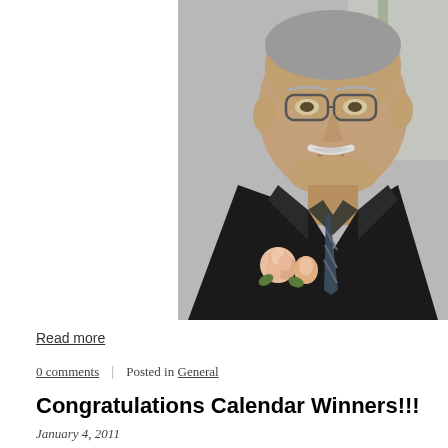[Figure (photo): Close-up portrait of an elderly man with glasses and a white mustache, wearing a dark suit with a striped tie and a pink/peach rose boutonniere on his lapel.]
Read more
0 comments | Posted in General
Congratulations Calendar Winners!!!
January 4, 2011